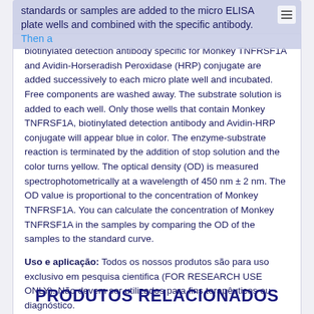standards or samples are added to the micro ELISA plate wells and combined with the specific antibody. Then a
biotinylated detection antibody specific for Monkey TNFRSF1A and Avidin-Horseradish Peroxidase (HRP) conjugate are added successively to each micro plate well and incubated. Free components are washed away. The substrate solution is added to each well. Only those wells that contain Monkey TNFRSF1A, biotinylated detection antibody and Avidin-HRP conjugate will appear blue in color. The enzyme-substrate reaction is terminated by the addition of stop solution and the color turns yellow. The optical density (OD) is measured spectrophotometrically at a wavelength of 450 nm ± 2 nm. The OD value is proportional to the concentration of Monkey TNFRSF1A. You can calculate the concentration of Monkey TNFRSF1A in the samples by comparing the OD of the samples to the standard curve.
Uso e aplicação: Todos os nossos produtos são para uso exclusivo em pesquisa cientifica (FOR RESEARCH USE ONLY). Não devem ser utilizados para fins terapêuticos ou diagnóstico.
PRODUTOS RELACIONADOS